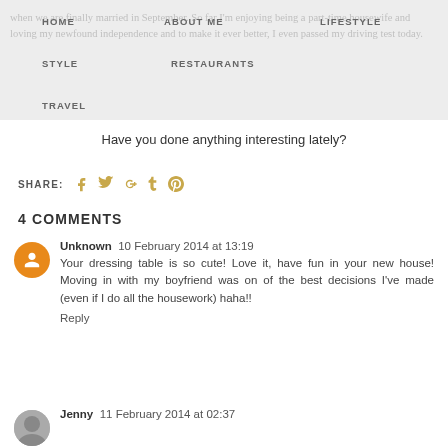HOME  ABOUT ME  LIFESTYLE  STYLE  RESTAURANTS  TRAVEL
when we are finally married in September. So far I'm enjoying being a part-time housewife and loving my newfound independence and to make it ever better, I even passed my driving test today.
Have you done anything interesting lately?
SHARE: [social icons: facebook, twitter, google+, tumblr, pinterest]
4 COMMENTS
Unknown  10 February 2014 at 13:19
Your dressing table is so cute! Love it, have fun in your new house! Moving in with my boyfriend was on of the best decisions I've made (even if I do all the housework) haha!!
Reply
Jenny  11 February 2014 at 02:37